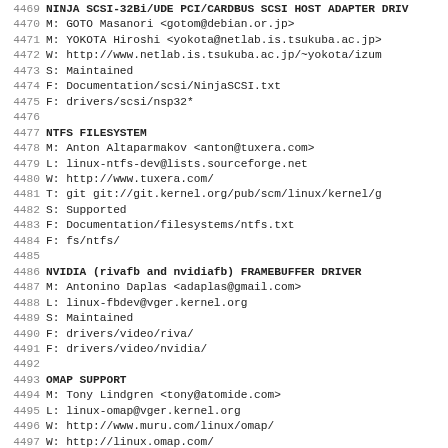4469 NINJA SCSI-32Bi/UDE PCI/CARDBUS SCSI HOST ADAPTER DRIVER
4470 M:        GOTO Masanori <gotom@debian.or.jp>
4471 M:        YOKOTA Hiroshi <yokota@netlab.is.tsukuba.ac.jp>
4472 W:        http://www.netlab.is.tsukuba.ac.jp/~yokota/izum
4473 S:        Maintained
4474 F:        Documentation/scsi/NinjaSCSI.txt
4475 F:        drivers/scsi/nsp32*
4476
4477 NTFS FILESYSTEM
4478 M:        Anton Altaparmakov <anton@tuxera.com>
4479 L:        linux-ntfs-dev@lists.sourceforge.net
4480 W:        http://www.tuxera.com/
4481 T:        git git://git.kernel.org/pub/scm/linux/kernel/g
4482 S:        Supported
4483 F:        Documentation/filesystems/ntfs.txt
4484 F:        fs/ntfs/
4485
4486 NVIDIA (rivafb and nvidiafb) FRAMEBUFFER DRIVER
4487 M:        Antonino Daplas <adaplas@gmail.com>
4488 L:        linux-fbdev@vger.kernel.org
4489 S:        Maintained
4490 F:        drivers/video/riva/
4491 F:        drivers/video/nvidia/
4492
4493 OMAP SUPPORT
4494 M:        Tony Lindgren <tony@atomide.com>
4495 L:        linux-omap@vger.kernel.org
4496 W:        http://www.muru.com/linux/omap/
4497 W:        http://linux.omap.com/
4498 Q:        http://patchwork.kernel.org/project/linux-omap/
4499 T:        git git://git.kernel.org/pub/scm/linux/kernel/g
4500 S:        Maintained
4501 F:        arch/arm/mach-omap*/